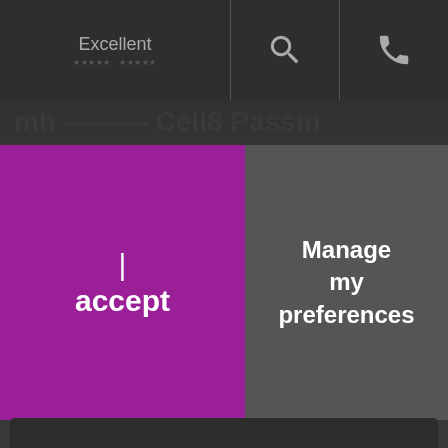Excellent
I
accept
Manage
my
preferences
We use cookies to make our site work well for you and so we can continually improve it, by using cookies to run the content management system and to collect anonymous visitor data on how visitors use our platform (including Google Analytics). We are making users more aware of these cookies and providing links to help visitors decline or remove cookies. You can read more by clicking on this link to our cookie policy web page.